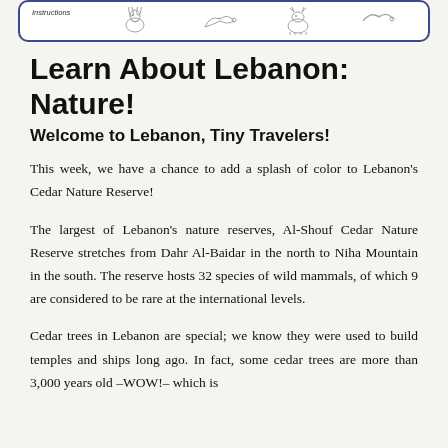Instructions
Learn About Lebanon: Nature!
Welcome to Lebanon, Tiny Travelers!
This week, we have a chance to add a splash of color to Lebanon's Cedar Nature Reserve!
The largest of Lebanon's nature reserves, Al-Shouf Cedar Nature Reserve stretches from Dahr Al-Baidar in the north to Niha Mountain in the south. The reserve hosts 32 species of wild mammals, of which 9 are considered to be rare at the international levels.
Cedar trees in Lebanon are special; we know they were used to build temples and ships long ago. In fact, some cedar trees are more than 3,000 years old –WOW!– which is